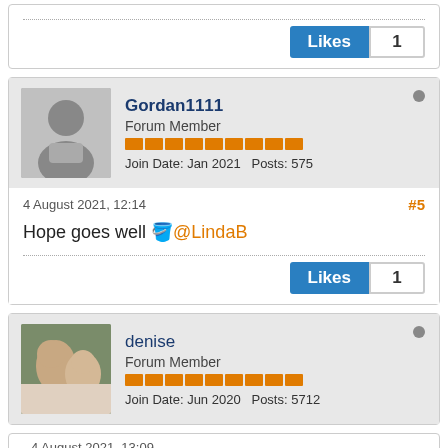[Figure (screenshot): Partial top of a forum post with dotted divider and Likes button showing count 1]
Gordan1111 Forum Member | Join Date: Jan 2021 Posts: 575
4 August 2021, 12:14 #5
Hope goes well @LindaB
Likes 1
denise Forum Member | Join Date: Jun 2020 Posts: 5712